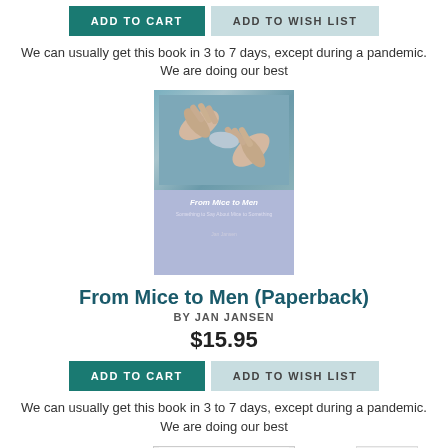ADD TO CART | ADD TO WISH LIST
We can usually get this book in 3 to 7 days, except during a pandemic. We are doing our best
[Figure (illustration): Book cover of 'From Mice to Men' with a lavender/purple background showing hands at the top portion, with the book title in italic script]
From Mice to Men (Paperback)
BY JAN JANSEN
$15.95
ADD TO CART | ADD TO WISH LIST
We can usually get this book in 3 to 7 days, except during a pandemic. We are doing our best
[Figure (illustration): Partial view of another book cover with red design elements visible at bottom of page]